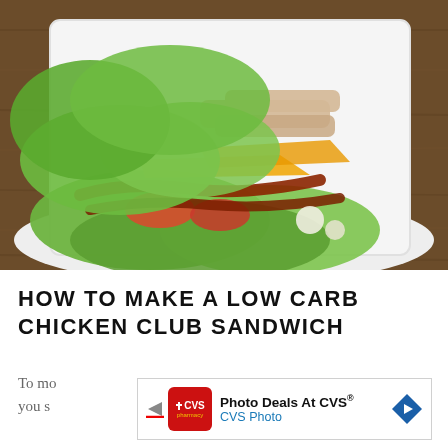[Figure (photo): A low carb chicken club sandwich served on a white plate with lettuce wraps instead of bread, topped with chicken strips, bacon, tomato, cheddar cheese, and other toppings, placed on a wooden surface.]
HOW TO MAKE A LOW CARB CHICKEN CLUB SANDWICH
To mo...lwich, you s...he
[Figure (other): Advertisement banner: Photo Deals At CVS® — CVS Photo, with CVS pharmacy logo and navigation arrow icon.]